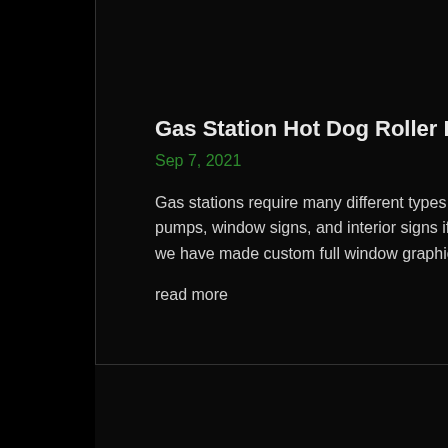Gas Station Hot Dog Roller Inserts for Chevron in Los Angeles, CA
Sep 7, 2021
Gas stations require many different types of signs including gas price signs, advertisements at the pumps, window signs, and interior signs if there is a store attached to the gas station. In the past year we have made custom full window graphics for two Chevrons in...
read more